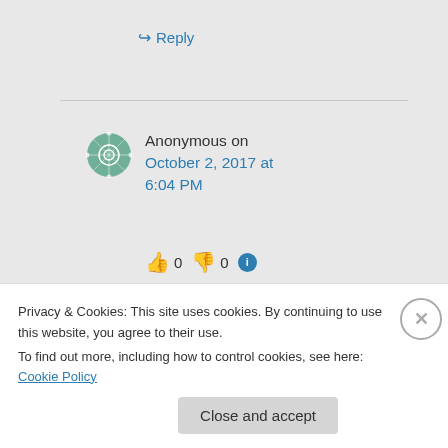↪ Reply
Anonymous on October 2, 2017 at 6:04 PM
👍 0 👎 0 ℹ
I suppose you could write down the number of victory
Privacy & Cookies: This site uses cookies. By continuing to use this website, you agree to their use.
To find out more, including how to control cookies, see here: Cookie Policy
Close and accept